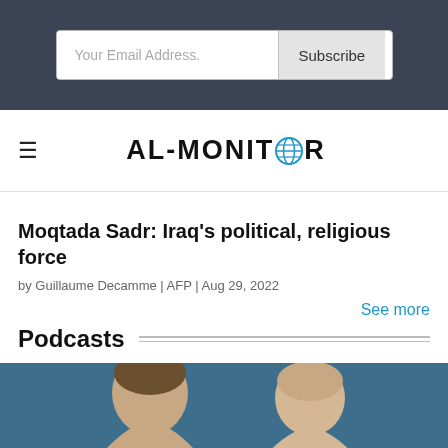Your Email Address. Subscribe
[Figure (logo): AL-MONITOR logo with globe icon replacing the letter O]
Moqtada Sadr: Iraq's political, religious force
by Guillaume Decamme | AFP | Aug 29, 2022
See more
Podcasts
[Figure (photo): Two people photographed from shoulders up against a teal/blue background, shown from mid-face upward]